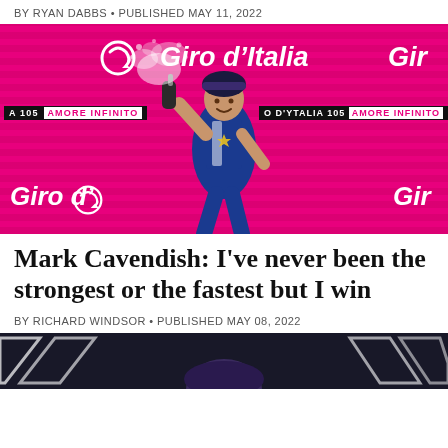BY RYAN DABBS • PUBLISHED MAY 11, 2022
[Figure (photo): Mark Cavendish celebrating on the Giro d'Italia podium, spraying champagne, with pink Giro d'Italia backdrop showing 'AMORE INFINITO' branding]
Mark Cavendish: I've never been the strongest or the fastest but I win
BY RICHARD WINDSOR • PUBLISHED MAY 08, 2022
[Figure (photo): Partial photo of Mark Cavendish at bottom of page, dark background with white geometric shapes]